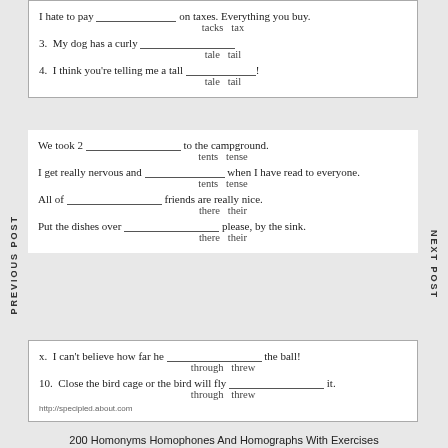I hate to pay ________ on taxes. Everything you buy. tacks tax
3. My dog has a curly ________. tale tail
4. I think you're telling me a tall ________! tale tail
We took 2 ________ to the campground. tents tense
I get really nervous and ________ when I have read to everyone. tents tense
All of ________ friends are really nice. there their
Put the dishes over ________ please, by the sink. there their
x. I can't believe how far he ________ the ball! through threw
10. Close the bird cage or the bird will fly ________ it. through threw
http://specipled.about.com
200 Homonyms Homophones And Homographs With Exercises